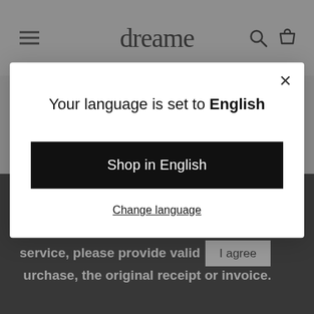dreame
For products purchased from Online Official Store of Amazon and AliExpress, please refer to
Your language is set to English
Shop in English
Change language
agree to its use of cookies.
1) When applying for the replacement service, please provide valid [proof of] purchase, the original receipt or invoice.
I agree